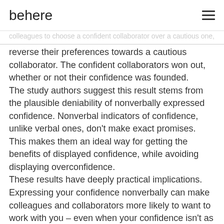behere
reverse their preferences towards a cautious collaborator. The confident collaborators won out, whether or not their confidence was founded. The study authors suggest this result stems from the plausible deniability of nonverbally expressed confidence. Nonverbal indicators of confidence, unlike verbal ones, don't make exact promises. This makes them an ideal way for getting the benefits of displayed confidence, while avoiding displaying overconfidence. These results have deeply practical implications. Expressing your confidence nonverbally can make colleagues and collaborators more likely to want to work with you – even when your confidence isn't as rock-solid as it appears. Below are some helpful tips on the kinds of nonverbal tactics that are good indicators of confidence. While far from the only forms of nonverbal confidence, these suggestions provide some excellent steps to take in the pursuit of exuding trustworthy confidence.